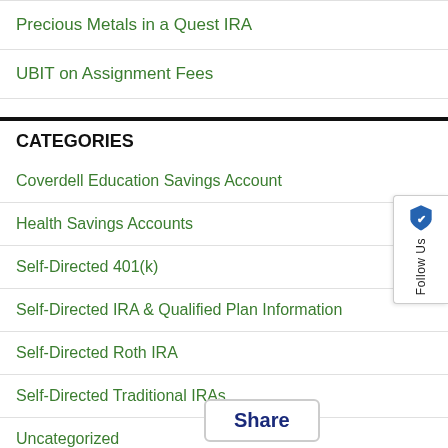Precious Metals in a Quest IRA
UBIT on Assignment Fees
CATEGORIES
Coverdell Education Savings Account
Health Savings Accounts
Self-Directed 401(k)
Self-Directed IRA & Qualified Plan Information
Self-Directed Roth IRA
Self-Directed Traditional IRAs
Uncategorized